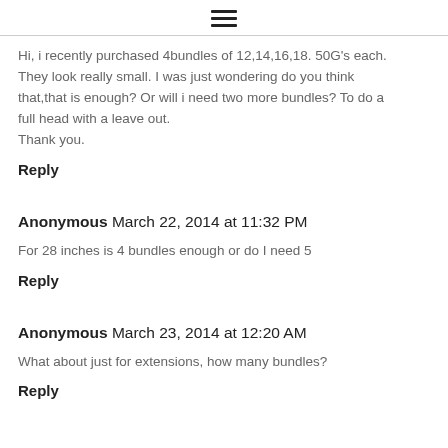☰
Hi, i recently purchased 4bundles of 12,14,16,18. 50G's each. They look really small. I was just wondering do you think that,that is enough? Or will i need two more bundles? To do a full head with a leave out.
Thank you.
Reply
Anonymous March 22, 2014 at 11:32 PM
For 28 inches is 4 bundles enough or do I need 5
Reply
Anonymous March 23, 2014 at 12:20 AM
What about just for extensions, how many bundles?
Reply